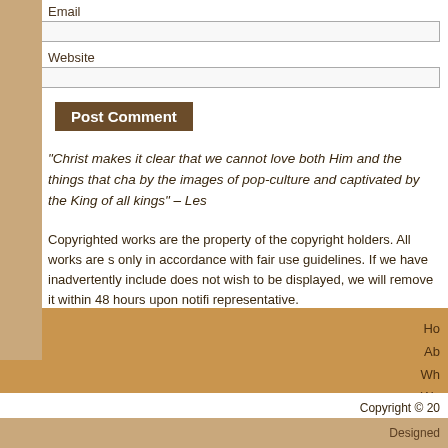Email
Website
Post Comment
“Christ makes it clear that we cannot love both Him and the things that cha by the images of pop-culture and captivated by the King of all kings” – Les
Copyrighted works are the property of the copyright holders. All works are s only in accordance with fair use guidelines. If we have inadvertently include does not wish to be displayed, we will remove it within 48 hours upon notifi representative.
Ho Ab Wh Wo Copyright © 20 Designed